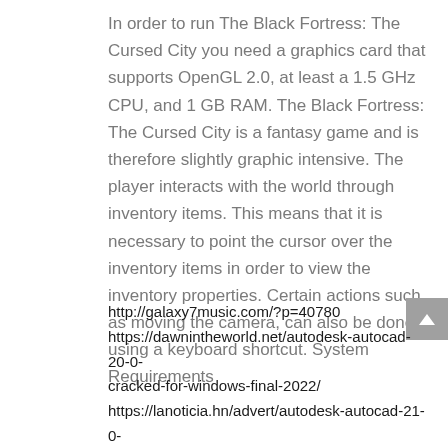In order to run The Black Fortress: The Cursed City you need a graphics card that supports OpenGL 2.0, at least a 1.5 GHz CPU, and 1 GB RAM. The Black Fortress: The Cursed City is a fantasy game and is therefore slightly graphic intensive. The player interacts with the world through inventory items. This means that it is necessary to point the cursor over the inventory items in order to view the inventory properties. Certain actions such as moving the camera, can also be done using a keyboard shortcut. System Requirements
http://galaxy7music.com/?p=40780
https://dawnintheworld.net/autodesk-autocad-20-0-cracked-for-windows-final-2022/
https://lanoticia.hn/advert/autodesk-autocad-21-0-civil-3d-free-latest-2022/
https://totoralillochile.com/advert/autodesk-autocad-